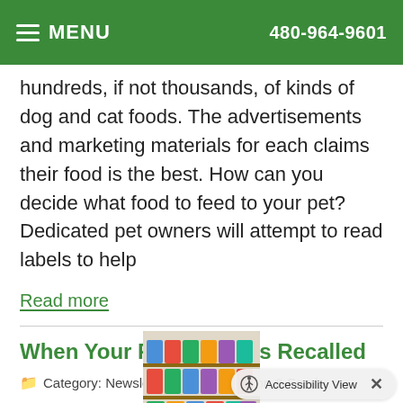MENU  480-964-9601
hundreds, if not thousands, of kinds of dog and cat foods. The advertisements and marketing materials for each claims their food is the best. How can you decide what food to feed to your pet? Dedicated pet owners will attempt to read labels to help
Read more
When Your Pet's Food Is Recalled
Category: Newsletter Library, Nutrition & Food
[Figure (photo): Photo of pet food bags on store shelves]